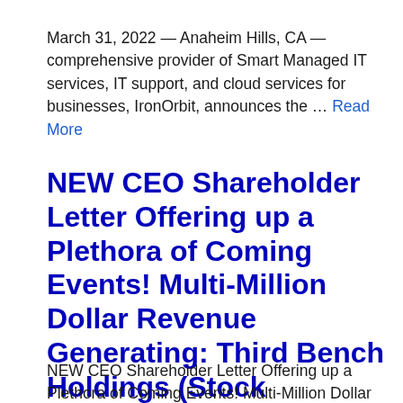March 31, 2022 — Anaheim Hills, CA — comprehensive provider of Smart Managed IT services, IT support, and cloud services for businesses, IronOrbit, announces the … Read More
NEW CEO Shareholder Letter Offering up a Plethora of Coming Events! Multi-Million Dollar Revenue Generating: Third Bench Holdings (Stock Symbol: NECA)
NEW CEO Shareholder Letter Offering up a Plethora of Coming Events! Multi-Million Dollar Revenue